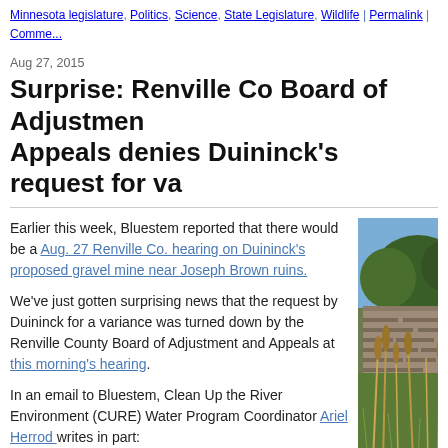Minnesota legislature, Politics, Science, State Legislature, Wildlife | Permalink | Comme...
Aug 27, 2015
Surprise: Renville Co Board of Adjustment and Appeals denies Duininck's request for va...
Earlier this week, Bluestem reported that there would be a Aug. 27 Renville Co. hearing on Duininck's proposed gravel mine near Joseph Brown ruins.
[Figure (photo): Outdoor photo showing stone ruins with tall dry grass/reeds in the foreground and trees in the background under a blue sky.]
We've just gotten surprising news that the request by Duininck for a variance was turned down by the Renville County Board of Adjustment and Appeals at this morning's hearing.
In an email to Bluestem, Clean Up the River Environment (CURE) Water Program Coordinator Ariel Herrod writes in part:
This morning, about 20 people attended the hearing, although only 4 landowners were notified. . . .
At the end of the hearing, and to everyone's surprise, the Renville Co Board of Adjustment and Appeals denied the variance request, citing arguments made throughout the morning that issuing the variance w... "maintain the essential character of the locality."